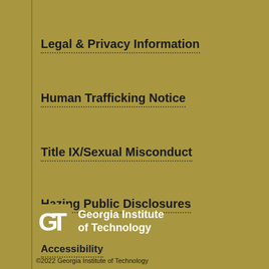Legal & Privacy Information
Human Trafficking Notice
Title IX/Sexual Misconduct
Hazing Public Disclosures
Accessibility
Accountability
Accreditation
[Figure (logo): Georgia Institute of Technology logo with GT monogram in white on gold background and text 'Georgia Institute of Technology']
©2022 Georgia Institute of Technology